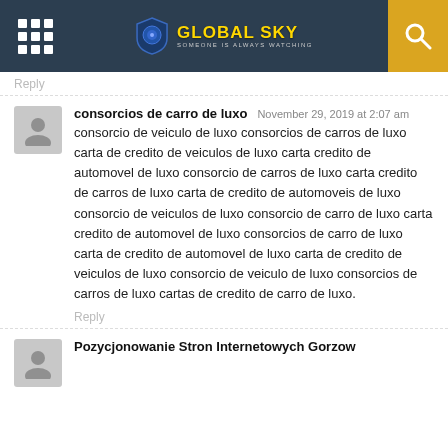GLOBAL SKY — SOMEONE IS ALWAYS WATCHING
Reply
consorcios de carro de luxo — November 29, 2019 at 2:07 am
consorcio de veiculo de luxo consorcios de carros de luxo carta de credito de veiculos de luxo carta credito de automovel de luxo consorcio de carros de luxo carta credito de carros de luxo carta de credito de automoveis de luxo consorcio de veiculos de luxo consorcio de carro de luxo carta credito de automovel de luxo consorcios de carro de luxo carta de credito de automovel de luxo carta de credito de veiculos de luxo consorcio de veiculo de luxo consorcios de carros de luxo cartas de credito de carro de luxo.
Reply
Pozycjonowanie Stron Internetowych Gorzow